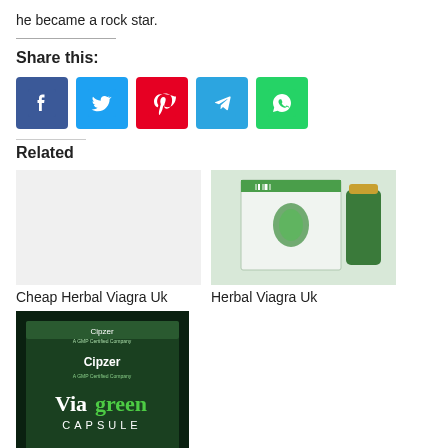he became a rock star.
Share this:
[Figure (infographic): Social share buttons: Facebook, Twitter, Pinterest, Telegram, WhatsApp]
Related
[Figure (photo): Cheap Herbal Viagra Uk product image placeholder]
Cheap Herbal Viagra Uk
[Figure (photo): Herbal Viagra Uk product image showing green herbal supplement bottle and box]
Herbal Viagra Uk
[Figure (photo): Herbal Viagra Online product image showing Cipzer Viagreen Capsule box]
Herbal Viagra Online